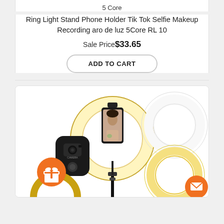5 Core
Ring Light Stand Phone Holder Tik Tok Selfie Makeup Recording aro de luz 5Core RL 10
Sale Price $33.65
ADD TO CART
[Figure (photo): Product photo showing ring light with phone holder on stand, a black Bluetooth camera remote, a plain white ring light, and a warm-toned ring light variant. Orange gift icon and orange mail icon overlaid.]